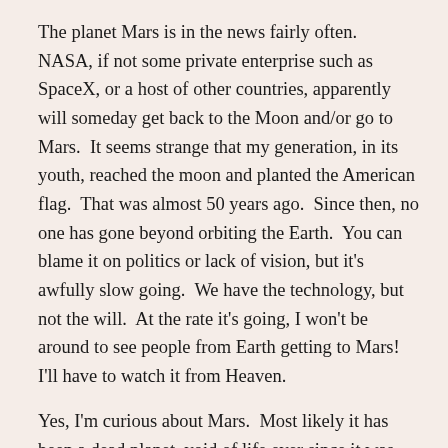The planet Mars is in the news fairly often.  NASA, if not some private enterprise such as SpaceX, or a host of other countries, apparently will someday get back to the Moon and/or go to Mars.  It seems strange that my generation, in its youth, reached the moon and planted the American flag.  That was almost 50 years ago.  Since then, no one has gone beyond orbiting the Earth.  You can blame it on politics or lack of vision, but it's awfully slow going.  We have the technology, but not the will.  At the rate it's going, I won't be around to see people from Earth getting to Mars!  I'll have to watch it from Heaven.
Yes, I'm curious about Mars.  Most likely it has been a dead planet, void of life ever since it was created by God.  But, it's part of His creation and that makes it a wonderful piece of real estate for whatever reasons.  Permanent bases, resorts, hotels anyone?  The science fiction triology about Mars by author Kim Stanley Robinson covers the possibilities.  For the most part, Mars becomes a second Earth, serving all the